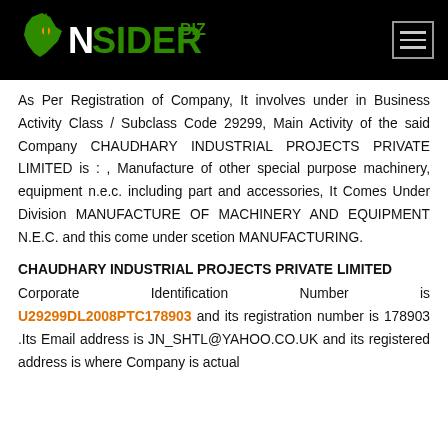INSIDER BIZ logo and hamburger menu
As Per Registration of Company, It involves under in Business Activity Class / Subclass Code 29299, Main Activity of the said Company CHAUDHARY INDUSTRIAL PROJECTS PRIVATE LIMITED is : , Manufacture of other special purpose machinery, equipment n.e.c. including part and accessories, It Comes Under Division MANUFACTURE OF MACHINERY AND EQUIPMENT N.E.C. and this come under scetion MANUFACTURING.
CHAUDHARY INDUSTRIAL PROJECTS PRIVATE LIMITED
Corporate Identification Number is U29299DL2008PTC178903 and its registration number is 178903 .Its Email address is JN_SHTL@YAHOO.CO.UK and its registered address is where Company is actual